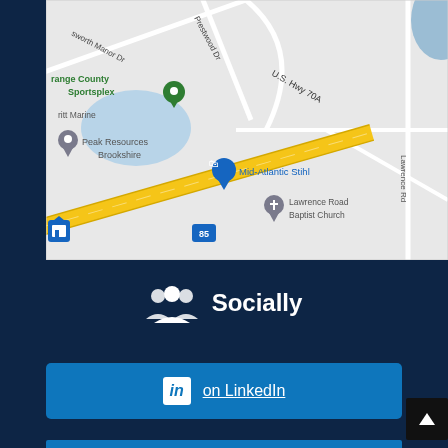[Figure (map): Google Maps screenshot showing area near Orange County Sportsplex, Peak Resources Brookshire, Mid-Atlantic Stihl, Lawrence Road Baptist Church, with U.S. Hwy 70A and highway 85 visible]
Socially
on LinkedIn
[Figure (other): Scroll to top button (dark square with up arrow)]